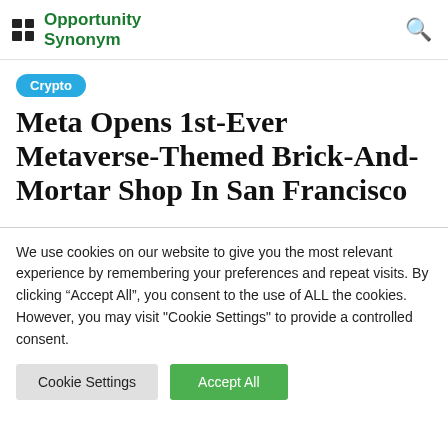Opportunity Synonym
Crypto
Meta Opens 1st-Ever Metaverse-Themed Brick-And-Mortar Shop In San Francisco
We use cookies on our website to give you the most relevant experience by remembering your preferences and repeat visits. By clicking “Accept All”, you consent to the use of ALL the cookies. However, you may visit "Cookie Settings" to provide a controlled consent.